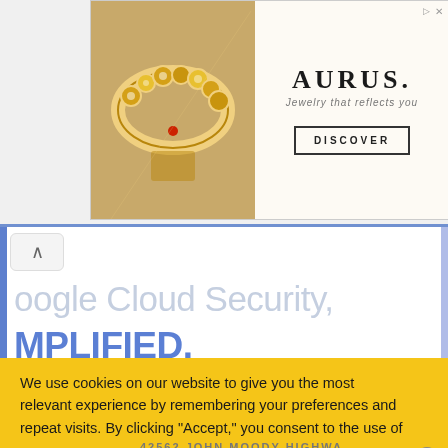[Figure (screenshot): AURUS jewelry advertisement banner with gold bracelet image on left, AURUS brand name, tagline 'Jewelry that reflects you', and DISCOVER button]
[Figure (screenshot): Google Cloud Security content area partially visible with text 'oogle Cloud Security,' and 'MPLIFIED.' in blue, with scroll up button and blue side borders]
We use cookies on our website to give you the most relevant experience by remembering your preferences and repeat visits. By clicking “Accept,” you consent to the use of
[Figure (screenshot): Exxon pre-additized diesel advertisement with Exxon logo and route icon, headline 'Exxon pre-additized diesel keeps your engine cleaner*']